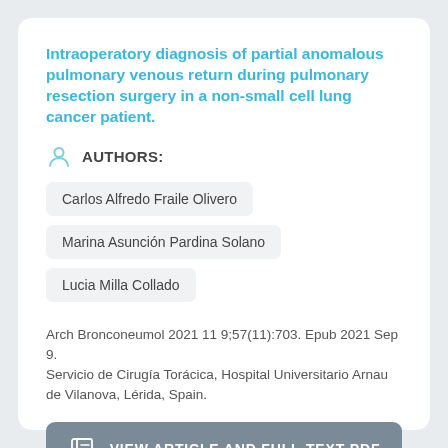Intraoperatory diagnosis of partial anomalous pulmonary venous return during pulmonary resection surgery in a non-small cell lung cancer patient.
AUTHORS:
Carlos Alfredo Fraile Olivero
Marina Asunción Pardina Solano
Lucia Milla Collado
Arch Bronconeumol 2021 11 9;57(11):703. Epub 2021 Sep 9.
Servicio de Cirugía Torácica, Hospital Universitario Arnau de Vilanova, Lérida, Spain.
VIEW ARTICLE AND FULL-TEXT PDF